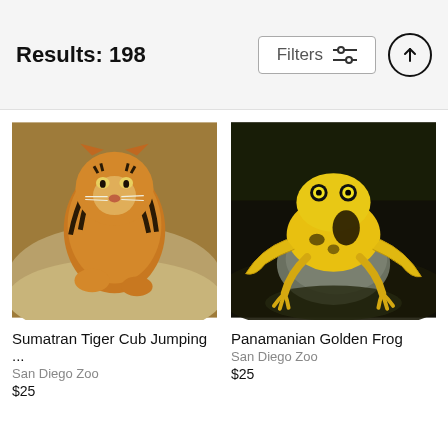Results: 198
[Figure (screenshot): Search results header with Filters button and up arrow icon]
[Figure (photo): Sumatran Tiger Cub jumping, photo from San Diego Zoo]
Sumatran Tiger Cub Jumping ...
San Diego Zoo
$25
[Figure (photo): Panamanian Golden Frog sitting on a rock, photo from San Diego Zoo]
Panamanian Golden Frog
San Diego Zoo
$25